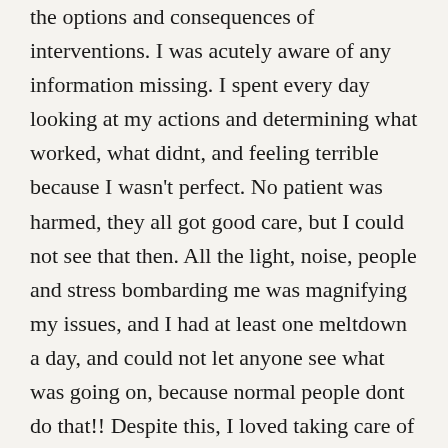the options and consequences of interventions. I was acutely aware of any information missing. I spent every day looking at my actions and determining what worked, what didnt, and feeling terrible because I wasn't perfect. No patient was harmed, they all got good care, but I could not see that then. All the light, noise, people and stress bombarding me was magnifying my issues, and I had at least one meltdown a day, and could not let anyone see what was going on, because normal people dont do that!! Despite this, I loved taking care of people, and all things medical. It was my special interest.
So over time, by working on nights, with